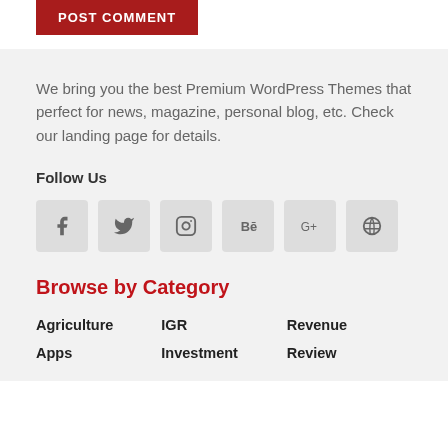POST COMMENT
We bring you the best Premium WordPress Themes that perfect for news, magazine, personal blog, etc. Check our landing page for details.
Follow Us
[Figure (illustration): Six social media icon buttons: Facebook, Twitter, Instagram, Behance, Google+, Dribbble]
Browse by Category
Agriculture
IGR
Revenue
Apps
Investment
Review